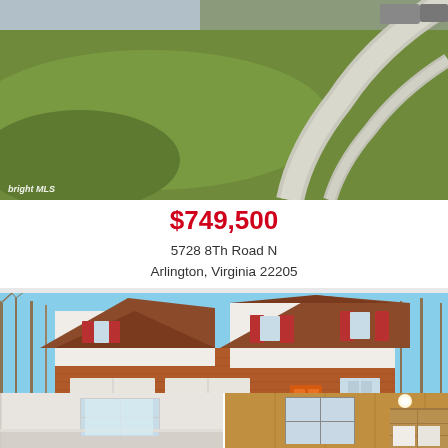[Figure (photo): Aerial/street-level photo of grass lawn with curved concrete driveway and sidewalk, Bright MLS watermark in lower left corner]
$749,500
5728 8Th Road N
Arlington, Virginia 22205
[Figure (photo): Front exterior photo of two-story colonial house with brick lower level, white vinyl siding upper level, red shutters, orange front door, two-car garage, bare winter trees in background, blue sky]
[Figure (photo): Interior photo showing a bright room with white walls and window (left side of bottom strip)]
[Figure (photo): Interior photo showing wood-paneled room with window and built-in shelving (right side of bottom strip)]